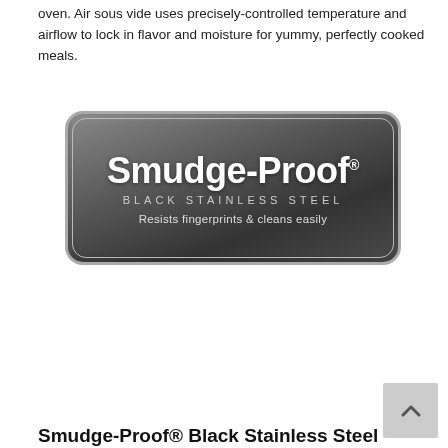oven. Air sous vide uses precisely-controlled temperature and airflow to lock in flavor and moisture for yummy, perfectly cooked meals.
[Figure (logo): Smudge-Proof Black Stainless Steel badge/logo: dark rounded rectangle badge with white bold text 'Smudge-Proof', below it 'BLACK STAINLESS STEEL' in spaced caps, and tagline 'Resists fingerprints & cleans easily']
[Figure (other): Scroll-to-top button with upward chevron arrow on gray background]
Smudge-Proof® Black Stainless Steel